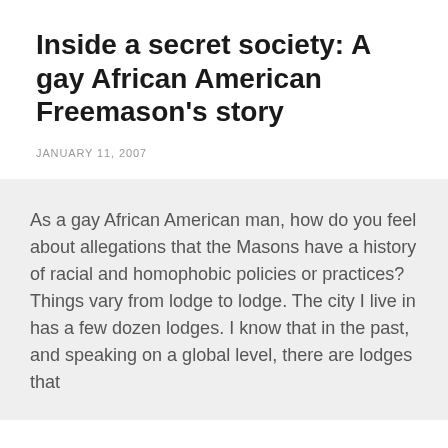Inside a secret society: A gay African American Freemason's story
JANUARY 11, 2007
As a gay African American man, how do you feel about allegations that the Masons have a history of racial and homophobic policies or practices?
Things vary from lodge to lodge. The city I live in has a few dozen lodges. I know that in the past, and speaking on a global level, there are lodges that